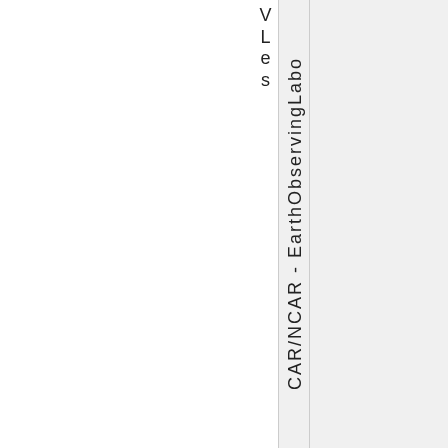| V
L
e
s | CAR/NCAR - EarthObservingLabo |  |